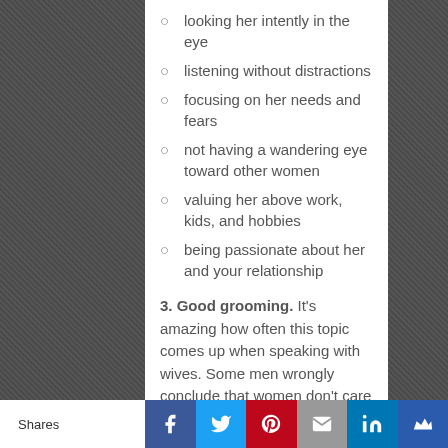looking her intently in the eye
listening without distractions
focusing on her needs and fears
not having a wandering eye toward other women
valuing her above work, kids, and hobbies
being passionate about her and your relationship
3. Good grooming. It's amazing how often this topic comes up when speaking with wives. Some men wrongly conclude that women don't care how their husbands look. They